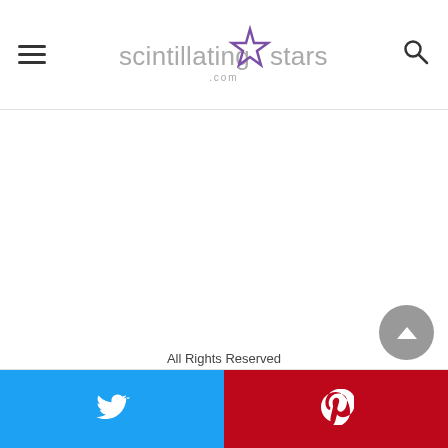scintillatingstars.com
All Rights Reserved
Twitter | Pinterest